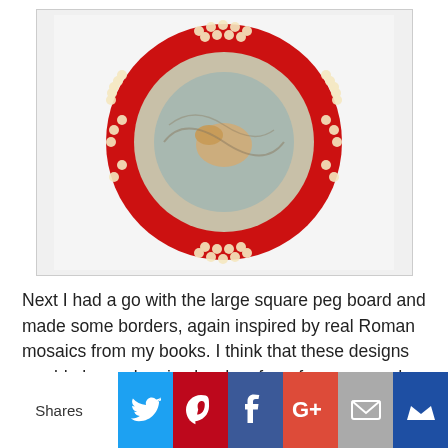[Figure (photo): Circular Roman mosaic design made with peg board beads, featuring a red border with cream-colored bead clusters and a central medallion with an animal figure on a blue-grey background]
Next I had a go with the large square peg board and made some borders, again inspired by real Roman mosaics from my books. I think that these designs would also make nice borders for a frame around a mosaic design or picture.
[Figure (photo): Greek key / meander pattern mosaic border design made with peg board beads, showing brown/orange geometric key pattern on dark background with a lighter stripe, and a second pattern below]